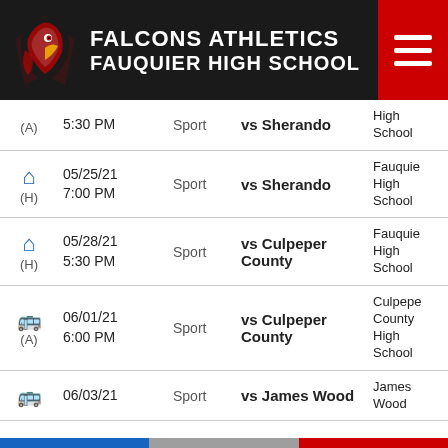FALCONS ATHLETICS FAUQUIER HIGH SCHOOL
| Icon/Location | Date/Time | Sport | Match | Venue |
| --- | --- | --- | --- | --- |
| (A) | 5:30 PM | Sport | vs Sherando | High School |
| (H) home | 05/25/21 7:00 PM | Sport | vs Sherando | Fauquier High School |
| (H) home | 05/28/21 5:30 PM | Sport | vs Culpeper County | Fauquier High School |
| (A) bus | 06/01/21 6:00 PM | Sport | vs Culpeper County | Culpeper County High School |
| (A) bus | 06/03/21 | Sport | vs James Wood | James Wood High School |